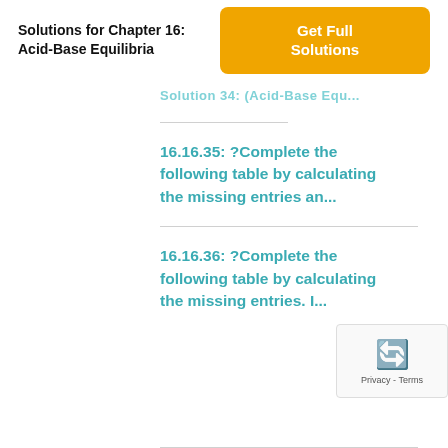Solutions for Chapter 16: Acid-Base Equilibria
Solution 34: (Acid-Base Equ...
16.16.35: ?Complete the following table by calculating the missing entries an...
16.16.36: ?Complete the following table by calculating the missing entries. I...